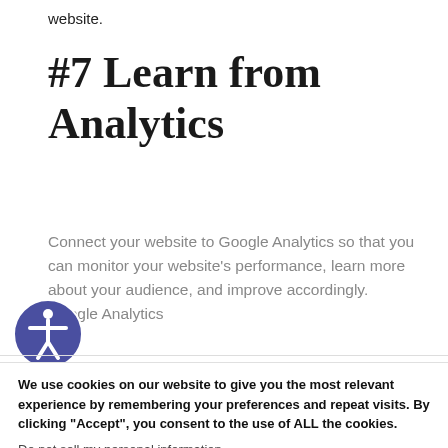website.
#7 Learn from Analytics
Connect your website to Google Analytics so that you can monitor your website's performance, learn more about your audience, and improve accordingly. Google Analytics
We use cookies on our website to give you the most relevant experience by remembering your preferences and repeat visits. By clicking “Accept”, you consent to the use of ALL the cookies.
Do not sell my personal information.
Cookie settings  ACCEPT  Reject